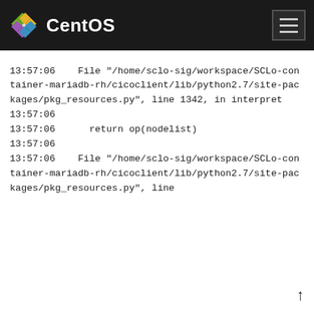CentOS
13:57:06    File "/home/sclo-sig/workspace/SCLo-container-mariadb-rh/cicoclient/lib/python2.7/site-packages/pkg_resources.py", line 1342, in interpret
13:57:06
13:57:06      return op(nodelist)
13:57:06
13:57:06    File "/home/sclo-sig/workspace/SCLo-container-mariadb-rh/cicoclient/lib/python2.7/site-packages/pkg_resources.py", line